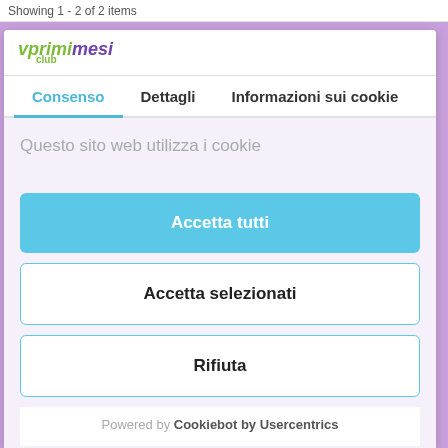Showing 1 - 2 of 2 items
[Figure (logo): Vprimei mesi club logo in green and purple italic text]
Consenso	Dettagli	Informazioni sui cookie
Questo sito web utilizza i cookie
Accetta tutti
Accetta selezionati
Rifiuta
Powered by Cookiebot by Usercentrics